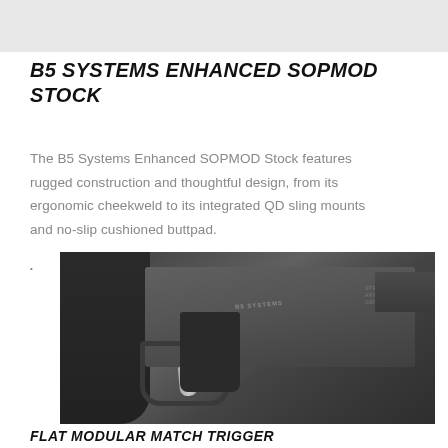[Figure (photo): Light gray banner/strip at top of page — partial image background]
B5 SYSTEMS ENHANCED SOPMOD STOCK
The B5 Systems Enhanced SOPMOD Stock features rugged construction and thoughtful design, from its ergonomic cheekweld to its integrated QD sling mounts and no-slip cushioned buttpad.
[Figure (photo): Close-up photo of an AR-15 style rifle lower receiver showing the B5 Systems grip, trigger assembly, trigger guard, and lower receiver with Springfield Armory Geneseo IL markings. The image is primarily dark gray/black tones with metal trigger visible.]
FLAT MODULAR MATCH TRIGGER